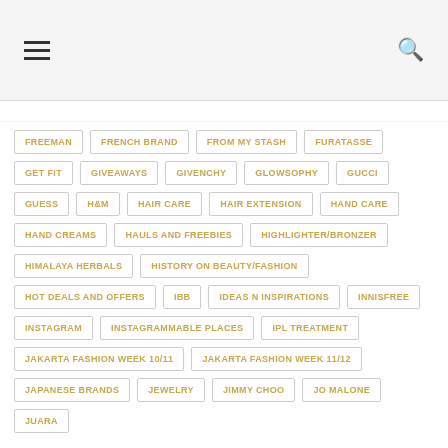Navigation header with hamburger menu and search icon
FREEMAN
FRENCH BRAND
FROM MY STASH
FURATASSE
GET FIT
GIVEAWAYS
GIVENCHY
GLOWSOPHY
GUCCI
GUESS
H&M
HAIR CARE
HAIR EXTENSION
HAND CARE
HAND CREAMS
HAULS AND FREEBIES
HIGHLIGHTER/BRONZER
HIMALAYA HERBALS
HISTORY ON BEAUTY/FASHION
HOT DEALS AND OFFERS
IBB
IDEAS N INSPIRATIONS
INNISFREE
INSTAGRAM
INSTAGRAMMABLE PLACES
IPL TREATMENT
JAKARTA FASHION WEEK 10/11
JAKARTA FASHION WEEK 11/12
JAPANESE BRANDS
JEWELRY
JIMMY CHOO
JO MALONE
JUARA